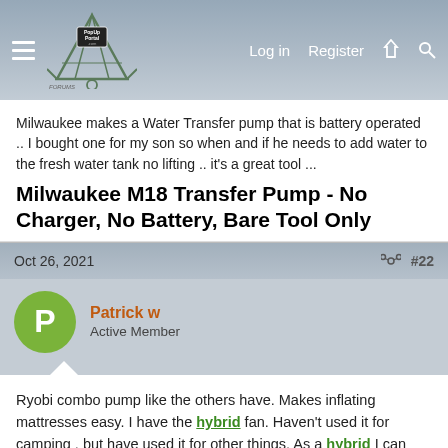PopUpPortal.com — Log in | Register
Milwaukee makes a Water Transfer pump that is battery operated .. I bought one for my son so when and if he needs to add water to the fresh water tank no lifting .. it's a great tool ...
Milwaukee M18 Transfer Pump - No Charger, No Battery, Bare Tool Only
Oct 26, 2021   #22
Patrick w
Active Member
Ryobi combo pump like the others have. Makes inflating mattresses easy. I have the hybrid fan. Haven't used it for camping , but have used it for other things. As a hybrid I can plug in or run battery mode as needed. I did get a combo fan light that uses that stereo plug. Have yet to try that too.